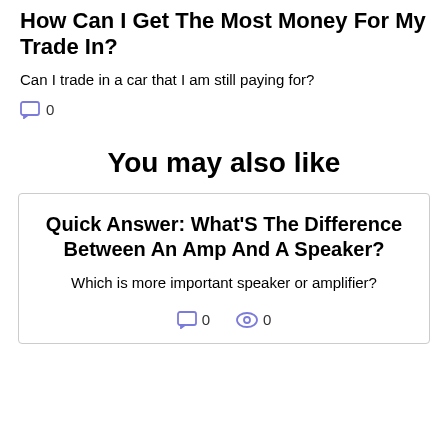How Can I Get The Most Money For My Trade In?
Can I trade in a car that I am still paying for?
0
You may also like
Quick Answer: What'S The Difference Between An Amp And A Speaker?
Which is more important speaker or amplifier?
0   0